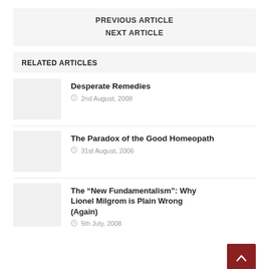PREVIOUS ARTICLE
NEXT ARTICLE
RELATED ARTICLES
Desperate Remedies
2nd August, 2008
The Paradox of the Good Homeopath
31st August, 2006
The “New Fundamentalism”: Why Lionel Milgrom is Plain Wrong (Again)
5th July, 2008